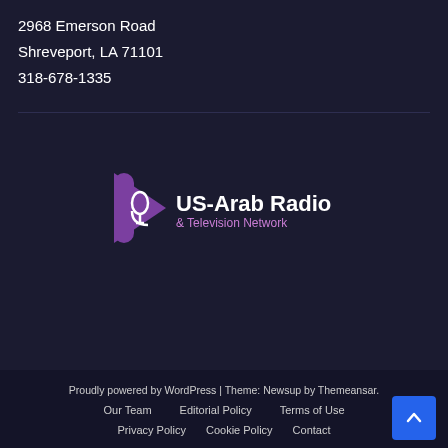2968 Emerson Road
Shreveport, LA 71101
318-678-1335
[Figure (logo): US-Arab Radio & Television Network logo with purple play button icon and microphone]
Proudly powered by WordPress | Theme: Newsup by Themeansar.
Our Team   Editorial Policy   Terms of Use
Privacy Policy   Cookie Policy   Contact